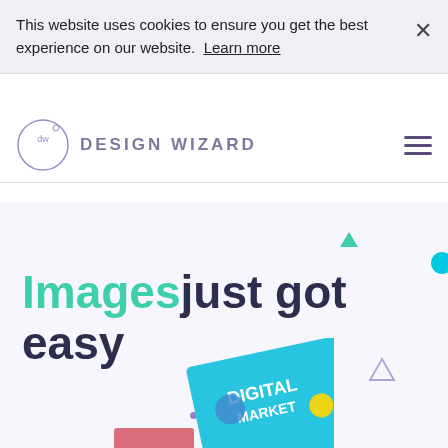This website uses cookies to ensure you get the best experience on our website. Learn more
[Figure (logo): Design Wizard logo: circle with 'dw' text and 'DESIGN WIZARD' wordmark]
Images just got easy
Create impressive videos and image designs in minutes.
[Figure (screenshot): Partially visible preview images of design templates including a 'Digital Marketing' card]